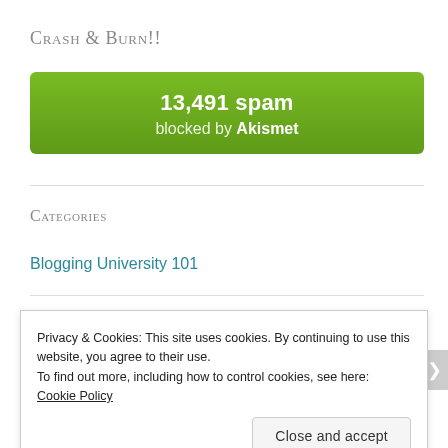Crash & Burn!!
[Figure (infographic): Green Akismet spam counter box showing 13,491 spam blocked by Akismet]
Categories
Blogging University 101
Privacy & Cookies: This site uses cookies. By continuing to use this website, you agree to their use.
To find out more, including how to control cookies, see here: Cookie Policy
Close and accept